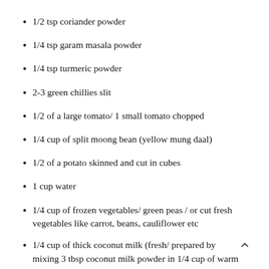1/2 tsp coriander powder
1/4 tsp garam masala powder
1/4 tsp turmeric powder
2-3 green chillies slit
1/2 of a large tomato/ 1 small tomato chopped
1/4 cup of split moong bean (yellow mung daal)
1/2 of a potato skinned and cut in cubes
1 cup water
1/4 cup of frozen vegetables/ green peas / or cut fresh vegetables like carrot, beans, cauliflower etc
1/4 cup of thick coconut milk (fresh/ prepared by mixing 3 tbsp coconut milk powder in 1/4 cup of warm